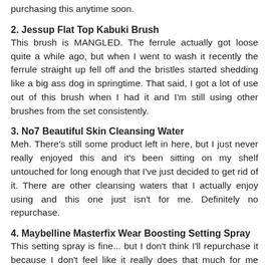purchasing this anytime soon.
2. Jessup Flat Top Kabuki Brush
This brush is MANGLED. The ferrule actually got loose quite a while ago, but when I went to wash it recently the ferrule straight up fell off and the bristles started shedding like a big ass dog in springtime. That said, I got a lot of use out of this brush when I had it and I'm still using other brushes from the set consistently.
3. No7 Beautiful Skin Cleansing Water
Meh. There's still some product left in here, but I just never really enjoyed this and it's been sitting on my shelf untouched for long enough that I've just decided to get rid of it. There are other cleansing waters that I actually enjoy using and this one just isn't for me. Definitely no repurchase.
4. Maybelline Masterfix Wear Boosting Setting Spray
This setting spray is fine... but I don't think I'll repurchase it because I don't feel like it really does that much for me overall. I actually kept this in my bathroom and used it on my way out the door on mornings where I needed just a little bit